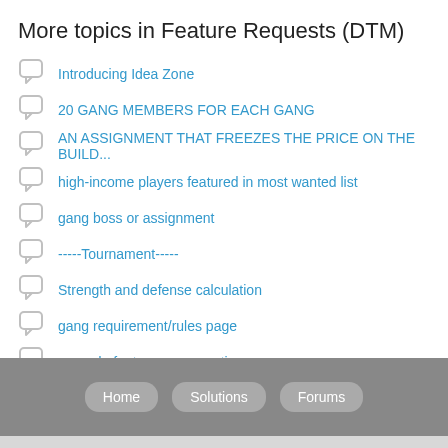More topics in Feature Requests (DTM)
Introducing Idea Zone
20 GANG MEMBERS FOR EACH GANG
AN ASSIGNMENT THAT FREEZES THE PRICE ON THE BUILD...
high-income players featured in most wanted list
gang boss or assignment
-----Tournament-----
Strength and defense calculation
gang requirement/rules page
upgrade feature on properties
More skill less about diamonds
See all 610 topics
Home   Solutions   Forums